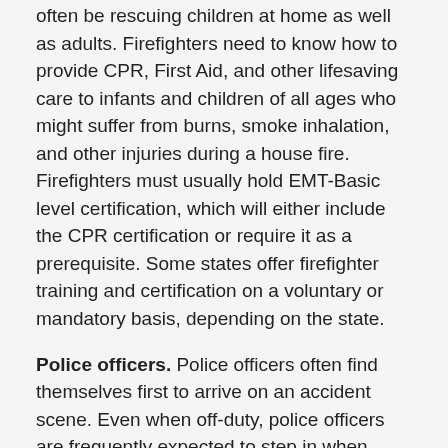often be rescuing children at home as well as adults. Firefighters need to know how to provide CPR, First Aid, and other lifesaving care to infants and children of all ages who might suffer from burns, smoke inhalation, and other injuries during a house fire. Firefighters must usually hold EMT-Basic level certification, which will either include the CPR certification or require it as a prerequisite. Some states offer firefighter training and certification on a voluntary or mandatory basis, depending on the state.
Police officers. Police officers often find themselves first to arrive on an accident scene. Even when off-duty, police officers are frequently expected to step in when lifesaving care is needed. While ideally medical professionals will arrive quickly to provide care, the reality is often much more messy—and often the police officer is the person best placed to provide care quickly.
As such, many police officers are trained in CPR, although it is difficult to say whether they are often technically required